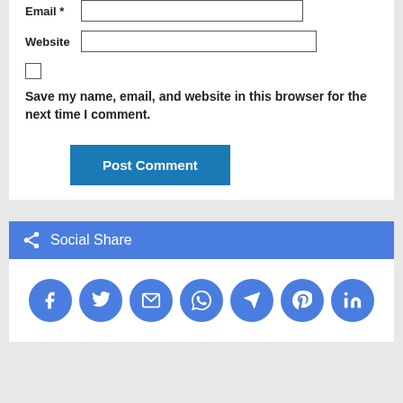Email *
Website
Save my name, email, and website in this browser for the next time I comment.
Post Comment
Social Share
[Figure (infographic): Social share icons: Facebook, Twitter, Email, WhatsApp, Telegram, Pinterest, LinkedIn — all blue circles with white icons]